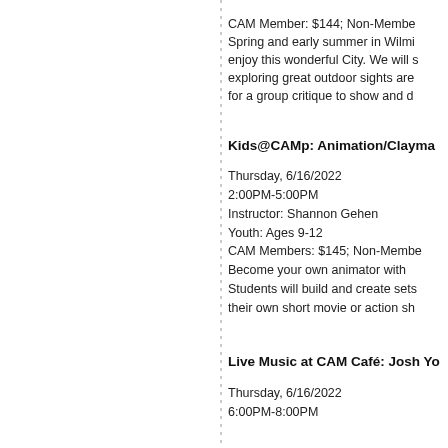CAM Member: $144; Non-Member: Spring and early summer in Wilmi enjoy this wonderful City. We will s exploring great outdoor sights are for a group critique to show and d
Kids@CAMp: Animation/Clayma
Thursday, 6/16/2022
2:00PM-5:00PM
Instructor: Shannon Gehen
Youth: Ages 9-12
CAM Members: $145; Non-Membe
Become your own animator with
Students will build and create sets their own short movie or action sh
Live Music at CAM Café: Josh Yo
Thursday, 6/16/2022
6:00PM-8:00PM
Illustrated Lecture with Daniel A